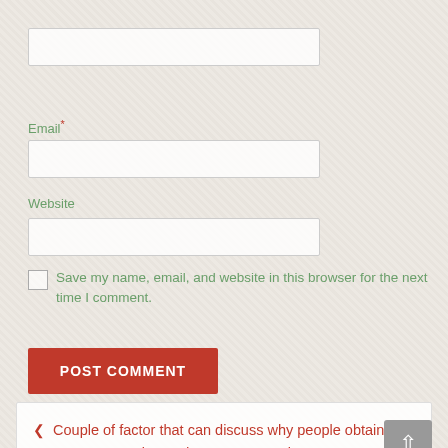[Figure (screenshot): Web form input field for Name (top, empty text input)]
Email *
[Figure (screenshot): Web form input field for Email (empty text input)]
Website
[Figure (screenshot): Web form input field for Website (empty text input)]
Save my name, email, and website in this browser for the next time I comment.
[Figure (screenshot): POST COMMENT button (red background, white text)]
< Couple of factor that can discuss why people obtain girls via London escorts services
Some reasons describing why you should try London escorts